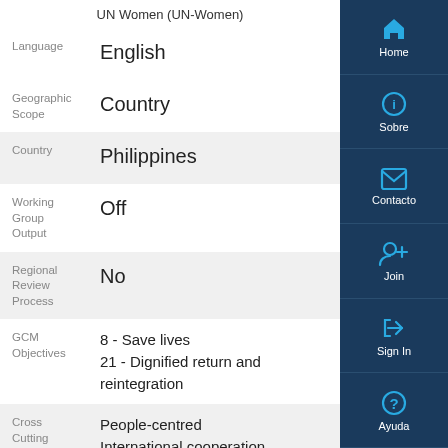UN Women (UN-Women)
| Field | Value |
| --- | --- |
| Language | English |
| Geographic Scope | Country |
| Country | Philippines |
| Working Group Output | Off |
| Regional Review Process | No |
| GCM Objectives | 8 - Save lives
21 - Dignified return and reintegration |
| Cross Cutting Theme | People-centred
International cooperation
National sovereignty |